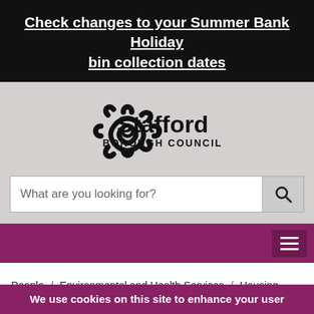Check changes to your Summer Bank Holiday bin collection dates
[Figure (logo): Stafford Borough Council logo with Celtic knot emblem and text 'Stafford BOROUGH COUNCIL']
What are you looking for?
People / Environmental and Health Services / Housing / Health and Wellbeing
We use cookies on this site to enhance your user